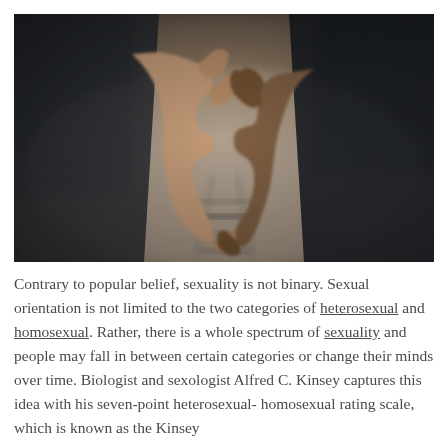[Figure (photo): Close-up photograph of two people's hands interlinked by their pinky fingers. One hand has lighter skin tone with a ring, the other has darker skin tone and is wearing a dark navy sleeve. The background shows blurred railway tracks and muted earth tones.]
Contrary to popular belief, sexuality is not binary. Sexual orientation is not limited to the two categories of heterosexual and homosexual. Rather, there is a whole spectrum of sexuality and people may fall in between certain categories or change their minds over time. Biologist and sexologist Alfred C. Kinsey captures this idea with his seven-point heterosexual-homosexual rating scale, which is known as the Kinsey